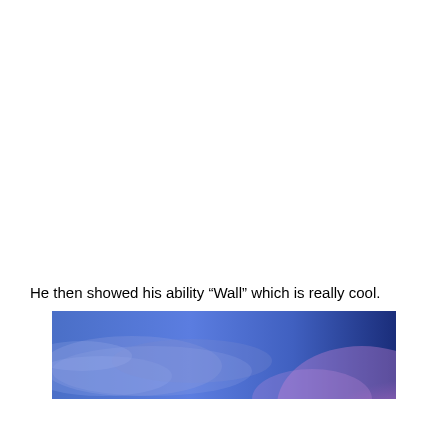He then showed his ability “Wall” which is really cool.
[Figure (illustration): A horizontal banner image showing a stylized space/planetary scene with blue and purple hues — a partial planet or sphere with a pinkish-purple glow against a deep blue sky with clouds.]